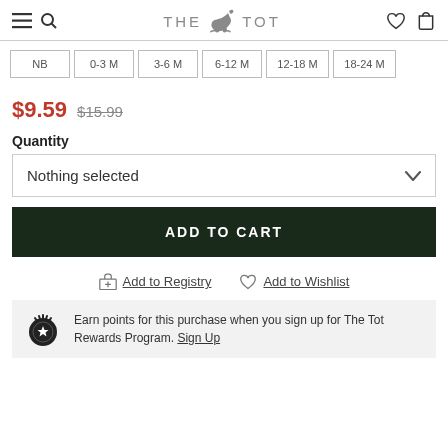THE TOT
| NB | 0-3 M | 3-6 M | 6-12 M | 12-18 M | 18-24 M |
| --- | --- | --- | --- | --- | --- |
$9.59  $15.99
Quantity
Nothing selected
ADD TO CART
Add to Registry
Add to Wishlist
Earn points for this purchase when you sign up for The Tot Rewards Program. Sign Up